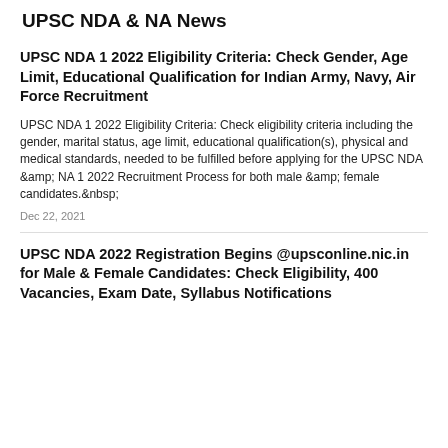UPSC NDA & NA News
UPSC NDA 1 2022 Eligibility Criteria: Check Gender, Age Limit, Educational Qualification for Indian Army, Navy, Air Force Recruitment
UPSC NDA 1 2022 Eligibility Criteria: Check eligibility criteria including the gender, marital status, age limit, educational qualification(s), physical and medical standards, needed to be fulfilled before applying for the UPSC NDA &amp; NA 1 2022 Recruitment Process for both male &amp; female candidates.&nbsp;
Dec 22, 2021
UPSC NDA 2022 Registration Begins @upsconline.nic.in for Male & Female Candidates: Check Eligibility, 400 Vacancies, Exam Date, Syllabus Notifications